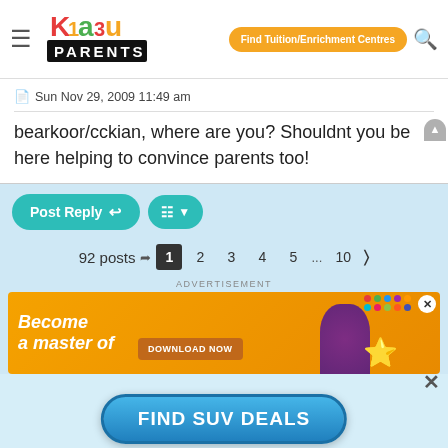[Figure (logo): Kiasu Parents website logo with colorful letters and PARENTS text below]
Sun Nov 29, 2009 11:49 am
bearkoor/cckian, where are you? Shouldnt you be here helping to convince parents too!
Post Reply
92 posts  1 2 3 4 5 ... 10 >
ADVERTISEMENT
[Figure (screenshot): Advertisement banner with orange background showing 'Become a master of' text and DOWNLOAD NOW button]
FIND SUV DEALS